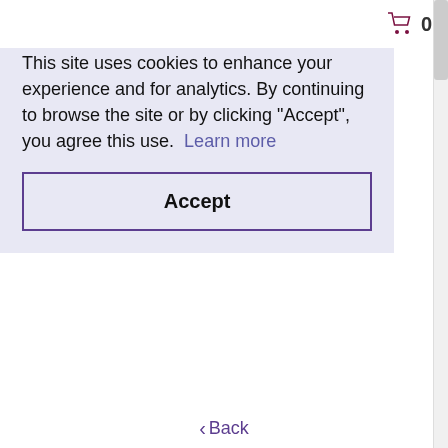0
This site uses cookies to enhance your experience and for analytics. By continuing to browse the site or by clicking "Accept", you agree this use.  Learn more
Accept
DUFT
£9.99
[Figure (other): Dark maroon/purple square image placeholder with white text reading 'No image available']
‹ Back